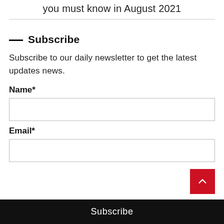you must know in August 2021
— Subscribe
Subscribe to our daily newsletter to get the latest updates news.
Name*
Email*
Subscribe